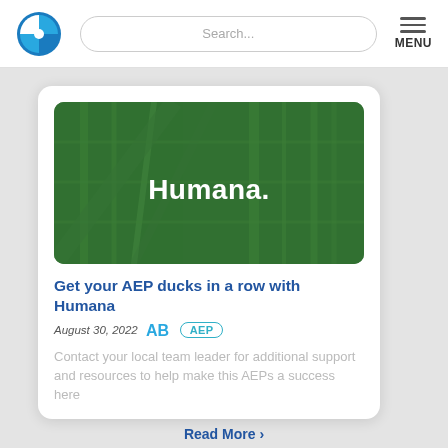Humana - Search - MENU
[Figure (logo): Humana branded article hero image with green overlay showing building structure and 'Humana.' text in white]
Get your AEP ducks in a row with Humana
August 30, 2022  AB  AEP
Contact your local team leader for additional support and resources to help make this AEPs a success here